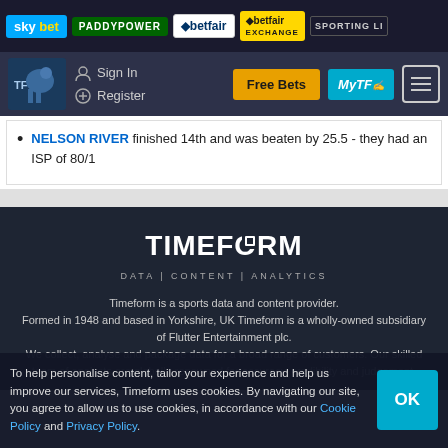sky bet | PADDYPOWER | betfair | betfair EXCHANGE | SPORTING LI...
Sign In | Register | Free Bets | MyTF | Menu
NELSON RIVER finished 14th and was beaten by 25.5 - they had an ISP of 80/1
[Figure (logo): Timeform logo with tagline DATA | CONTENT | ANALYTICS]
Timeform is a sports data and content provider. Formed in 1948 and based in Yorkshire, UK Timeform is a wholly-owned subsidiary of Flutter Entertainment plc. We collect, analyse and package data for a broad range of customers. Our skilled team of analysts are globally-renowned for accuracy, credibility and judgement.
To help personalise content, tailor your experience and help us improve our services, Timeform uses cookies. By navigating our site, you agree to allow us to use cookies, in accordance with our Cookie Policy and Privacy Policy.